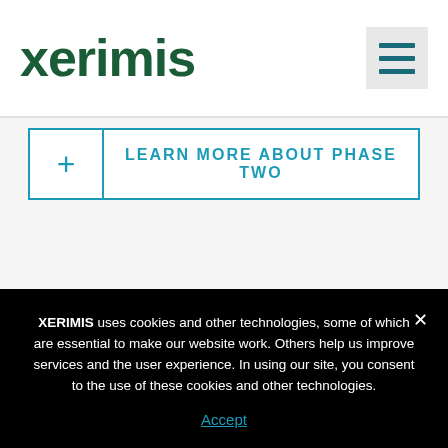[Figure (logo): Xerimis company logo in dark green bold text]
+ | LEARN MORE ABOUT PHASE TWO
XERIMIS uses cookies and other technologies, some of which are essential to make our website work. Others help us improve services and the user experience. In using our site, you consent to the use of these cookies and other technologies.
Accept